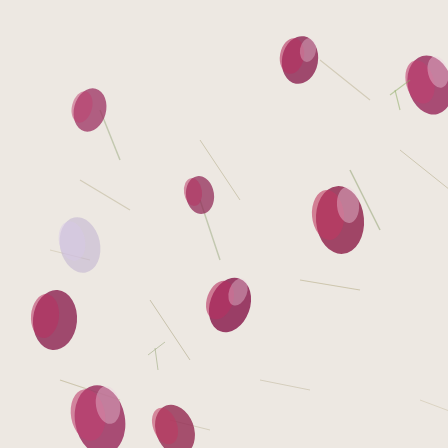[Figure (photo): Decorative floral background image showing pressed rose petals and dried grass/herb stems scattered on a light cream/white textured surface. Petals are deep red/magenta with white tips, arranged randomly across the image.]
Buylinks are provided as a courtesy, and are not something we are listed.
Posted by Ky at 12:0
Labels: 4 stars, age ga standalone, romance,
No comments:
Post a Comment
Hey, thanks for readin - we always enjoy hea
Enter Comment